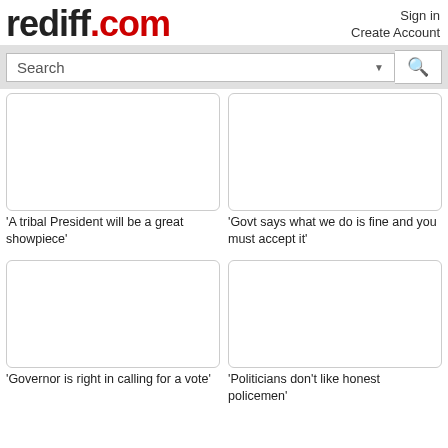rediff.com
Sign in
Create Account
Search
[Figure (screenshot): Blank image placeholder for article 1]
'A tribal President will be a great showpiece'
[Figure (screenshot): Blank image placeholder for article 2]
'Govt says what we do is fine and you must accept it'
[Figure (screenshot): Blank image placeholder for article 3]
'Governor is right in calling for a vote'
[Figure (screenshot): Blank image placeholder for article 4]
'Politicians don't like honest policemen'